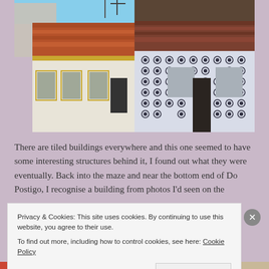[Figure (photo): Photograph of tiled buildings in what appears to be a Portuguese street scene. Buildings with terracotta roof tiles and blue/white decorative azulejo tilework on the facade, with windows and doorways visible. Sky visible behind.]
There are tiled buildings everywhere and this one seemed to have some interesting structures behind it, I found out what they were eventually. Back into the maze and near the bottom end of Do Postigo, I recognise a building from photos I'd seen on the
Privacy & Cookies: This site uses cookies. By continuing to use this website, you agree to their use.
To find out more, including how to control cookies, see here: Cookie Policy
Close and accept